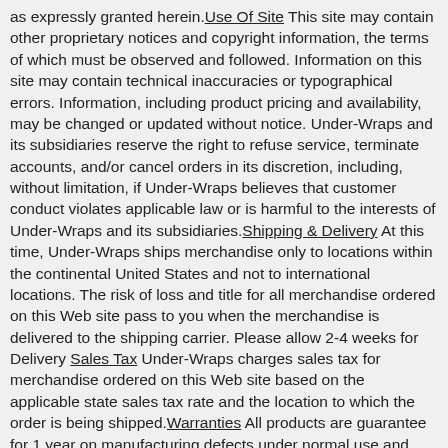as expressly granted herein. Use Of Site This site may contain other proprietary notices and copyright information, the terms of which must be observed and followed. Information on this site may contain technical inaccuracies or typographical errors. Information, including product pricing and availability, may be changed or updated without notice. Under-Wraps and its subsidiaries reserve the right to refuse service, terminate accounts, and/or cancel orders in its discretion, including, without limitation, if Under-Wraps believes that customer conduct violates applicable law or is harmful to the interests of Under-Wraps and its subsidiaries. Shipping & Delivery At this time, Under-Wraps ships merchandise only to locations within the continental United States and not to international locations. The risk of loss and title for all merchandise ordered on this Web site pass to you when the merchandise is delivered to the shipping carrier. Please allow 2-4 weeks for Delivery Sales Tax Under-Wraps charges sales tax for merchandise ordered on this Web site based on the applicable state sales tax rate and the location to which the order is being shipped. Warranties All products are guarantee for 1 year on manufacturing defects under normal use and conditions. 30 Day Return policy upon approval only. Proof of purchase is required for refund or exchange. Returns or exchanges must be in sellable condition. Shipping charges will not be refunded. Please contact customerservice@under-wraps.com Thank you for your business Return Policy All products are guarantee for 1 year on manufacturing defects under normal use and conditions. 30 Day Return policy. Proof of